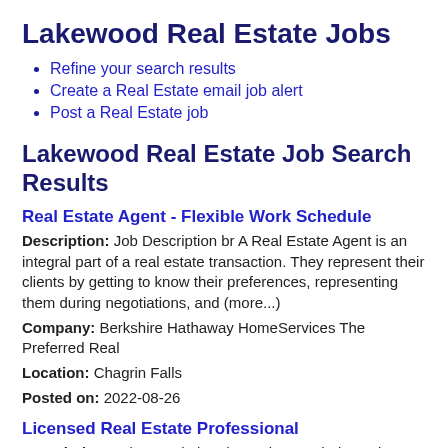Lakewood Real Estate Jobs
Refine your search results
Create a Real Estate email job alert
Post a Real Estate job
Lakewood Real Estate Job Search Results
Real Estate Agent - Flexible Work Schedule
Description: Job Description br A Real Estate Agent is an integral part of a real estate transaction. They represent their clients by getting to know their preferences, representing them during negotiations, and (more...)
Company: Berkshire Hathaway HomeServices The Preferred Real
Location: Chagrin Falls
Posted on: 2022-08-26
Licensed Real Estate Professional
Description: Job DescriptionThe real estate industry is booming with excitement right now. We are looking for a Licensed Real Estate Professional who can offer their creativity, problem-solving skills and marketing (more...)